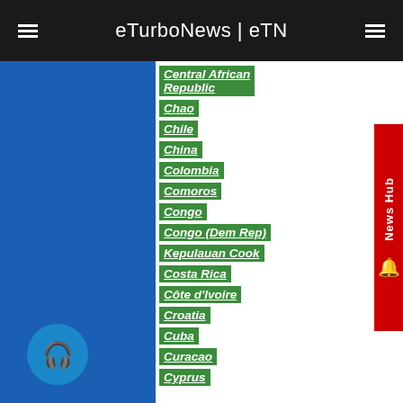eTurboNews | eTN
Central African Republic
Chao
Chile
China
Colombia
Comoros
Congo
Congo (Dem Rep)
Kepulauan Cook
Costa Rica
Côte d'Ivoire
Croatia
Cuba
Curacao
Cyprus
Palestina
Panama
Papua New Guinea
Paraguay
Peru
Philippines
Poland
Portugal
Puerto Rico
Qatar
Reunion
Romania
Russia
Rwanda
Saint Kitts le Nevis
Saint Lucia